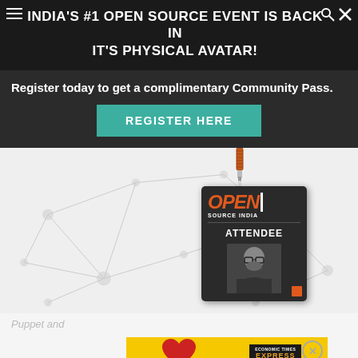INDIA'S #1 OPEN SOURCE EVENT IS BACK IN IT'S PHYSICAL AVATAR!
Register today to get a complimentary Community Pass.
REGISTER HERE
[Figure (infographic): Network graph background with nodes and connecting lines in light gray, with an Open Source India event badge/lanyard in the center-right. The badge shows 'OPEN SOURCE INDIA' branding, 'ATTENDEE' text, and a photo of a person.]
Puppet and management
[Figure (infographic): Yellow advertisement banner with a red heart and a newspaper/magazine (Economic Times Express) logo]